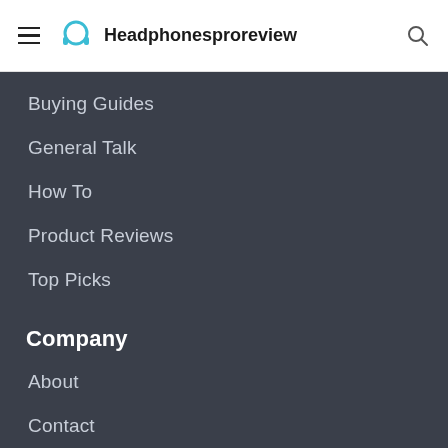Headphonesproreview
Buying Guides
General Talk
How To
Product Reviews
Top Picks
Company
About
Contact
Disclosure
Privacy Policy
Disclaimer